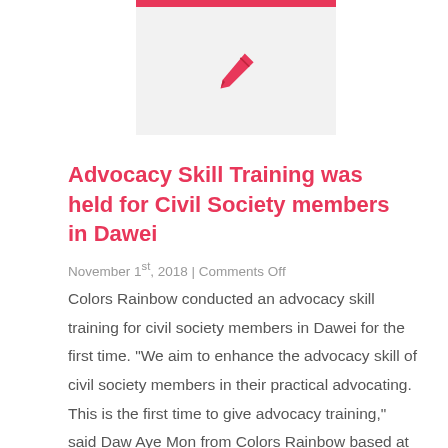[Figure (illustration): Pink/red pen icon on light grey background with a pink top border bar]
Advocacy Skill Training was held for Civil Society members in Dawei
November 1st, 2018 | Comments Off
Colors Rainbow conducted an advocacy skill training for civil society members in Dawei for the first time. “We aim to enhance the advocacy skill of civil society members in their practical advocating. This is the first time to give advocacy training,” said Daw Aye Mon from Colors Rainbow based at Dawei. This training was [...]